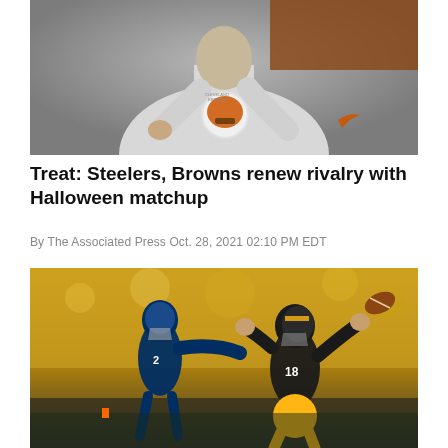[Figure (photo): Cleveland Browns player in white jersey with Browns helmet logo, arms raised, photographed from chest up against blurred indoor background]
Treat: Steelers, Browns renew rivalry with Halloween matchup
By The Associated Press Oct. 28, 2021 02:10 PM EDT
[Figure (photo): Pittsburgh Steelers wide receiver #18 catching or attempting to catch a football in the end zone while being defended by a Seattle Seahawks player #2, with a packed stadium crowd in the background]